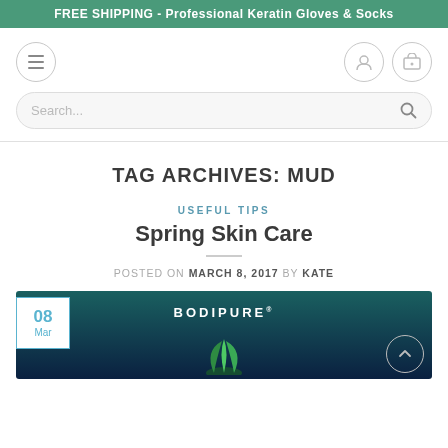FREE SHIPPING - Professional Keratin Gloves & Socks
[Figure (screenshot): Navigation icons: hamburger menu on left, user and cart icons on right]
[Figure (screenshot): Search bar with placeholder text 'Search...' and magnifying glass icon]
TAG ARCHIVES: MUD
USEFUL TIPS
Spring Skin Care
POSTED ON MARCH 8, 2017 BY KATE
[Figure (photo): Blog post featured image with dark teal/navy gradient background showing BODIPURE logo and green leaves at the bottom. A date badge showing 08 Mar is in the bottom-left corner.]